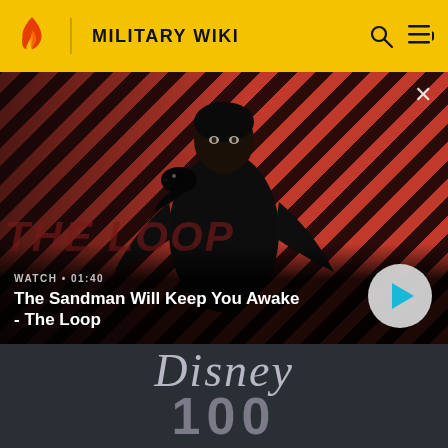MILITARY WIKI
[Figure (screenshot): Video thumbnail for 'The Sandman Will Keep You Awake - The Loop' showing a dark figure with a crow on diagonal red and black striped background with THE LOOP text overlay]
WATCH • 01:40
The Sandman Will Keep You Awake - The Loop
[Figure (screenshot): Disney 100th anniversary logo on dark grey background showing 'Disney' in cursive and '100' in large metallic text]